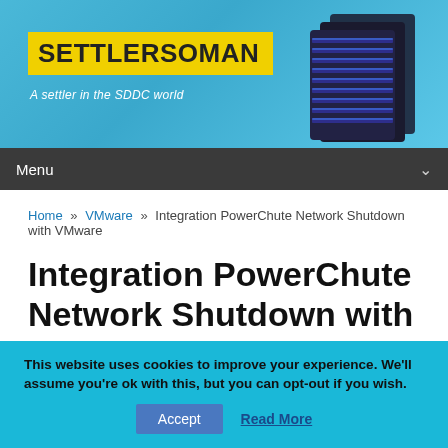[Figure (logo): Settlersoman website banner with yellow logo box reading SETTLERSOMAN, tagline 'A settler in the SDDC world', server rack image on right, blue gradient background]
Menu
Home » VMware » Integration PowerChute Network Shutdown with VMware
Integration PowerChute Network Shutdown with VMware
This website uses cookies to improve your experience. We'll assume you're ok with this, but you can opt-out if you wish. Accept Read More